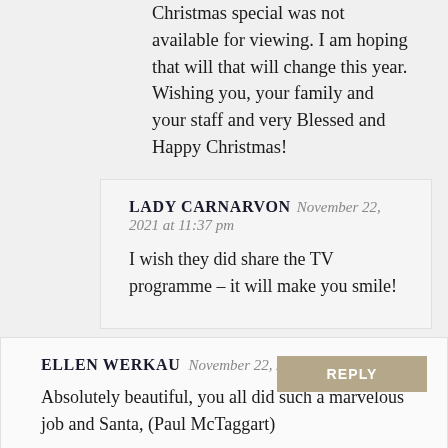Christmas special was not available for viewing. I am hoping that will that will change this year. Wishing you, your family and your staff and very Blessed and Happy Christmas!
LADY CARNARVON November 22, 2021 at 11:37 pm
I wish they did share the TV programme – it will make you smile!
ELLEN WERKAU November 22, 2021
Absolutely beautiful, you all did such a marvelous job and Santa, (Paul McTaggart)